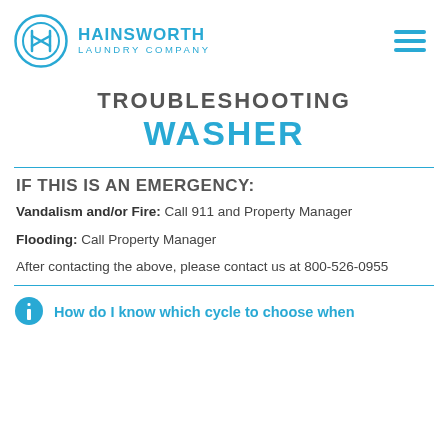[Figure (logo): Hainsworth Laundry Company logo with circular icon and text, plus hamburger menu icon]
TROUBLESHOOTING WASHER
IF THIS IS AN EMERGENCY:
Vandalism and/or Fire: Call 911 and Property Manager
Flooding: Call Property Manager
After contacting the above, please contact us at 800-526-0955
How do I know which cycle to choose when